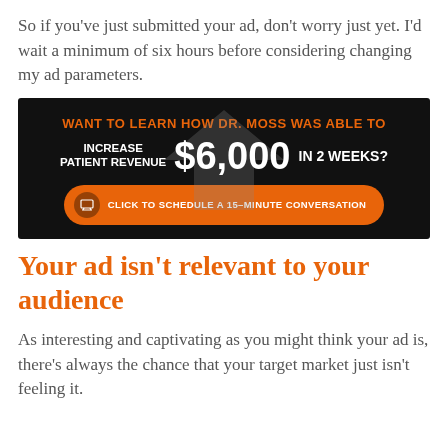So if you've just submitted your ad, don't worry just yet. I'd wait a minimum of six hours before considering changing my ad parameters.
[Figure (infographic): Dark banner ad with orange and white text: 'WANT TO LEARN HOW DR. MOSS WAS ABLE TO INCREASE PATIENT REVENUE $6,000 IN 2 WEEKS?' with a large grey upward arrow and an orange call-to-action button: 'CLICK TO SCHEDULE A 15-MINUTE CONVERSATION']
Your ad isn't relevant to your audience
As interesting and captivating as you might think your ad is, there's always the chance that your target market just isn't feeling it.